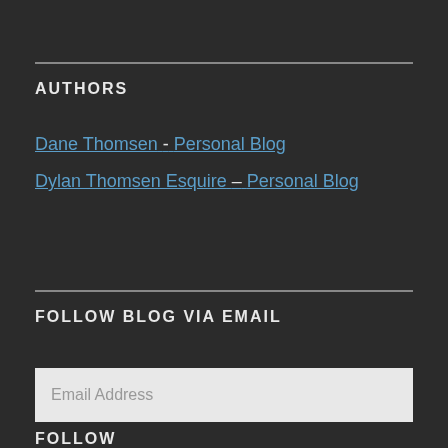AUTHORS
Dane Thomsen - Personal Blog
Dylan Thomsen Esquire – Personal Blog
FOLLOW BLOG VIA EMAIL
Email Address
FOLLOW